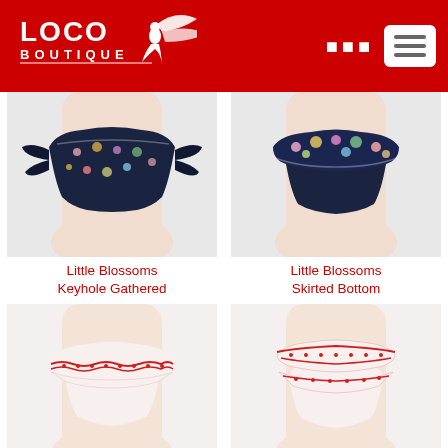Loco Boutique
[Figure (photo): Little Blossoms Keyhole Gathered bikini bottom - navy floral print with side ties, shown on mannequin torso]
Little Blossoms
Keyhole Gathered
[Figure (photo): Little Blossoms Skirted Bottom bikini - navy floral print with ruffle skirt overlay, shown on mannequin torso]
Little Blossoms
Skirted Bottom
[Figure (photo): Loco Broidery Skirted Bottom - white with red embroidery and ruffle skirt, shown on mannequin torso]
Loco Broidery
Skirted Bottom
[Figure (photo): Loco Broidery Double Sided Ruffles - white with red embroidery and double ruffles, shown on mannequin torso]
Loco Broidery
Double Sided Ruffles
[Figure (photo): Partially visible bikini bottom product at bottom left, white background]
[Figure (photo): Partially visible red/orange bikini bottom product at bottom right]